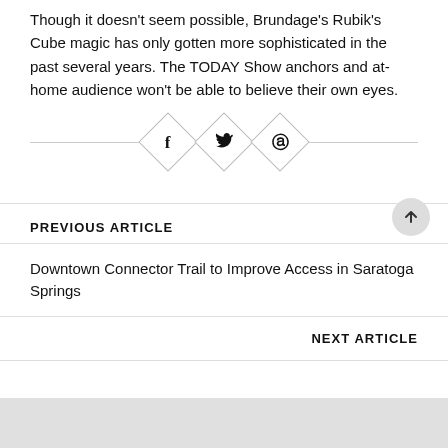Though it doesn't seem possible, Brundage's Rubik's Cube magic has only gotten more sophisticated in the past several years. The TODAY Show anchors and at-home audience won't be able to believe their own eyes.
[Figure (other): Social sharing icons: Facebook (f), Twitter (bird), Pinterest (p) inside diamond shapes, separated by a horizontal rule]
PREVIOUS ARTICLE
Downtown Connector Trail to Improve Access in Saratoga Springs
NEXT ARTICLE